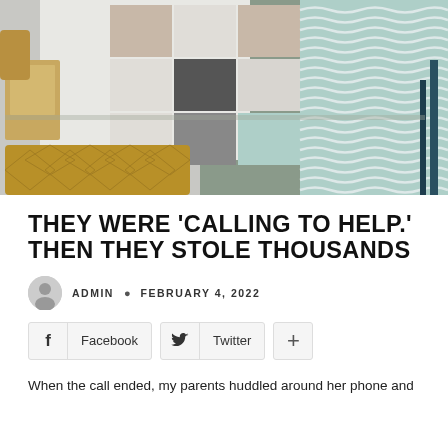[Figure (illustration): Interior room illustration with colorful geometric panels, a mustard yellow diamond-pattern rug, gray floor, and wavy-patterned wall section in teal and white.]
THEY WERE 'CALLING TO HELP.' THEN THEY STOLE THOUSANDS
ADMIN • FEBRUARY 4, 2022
Facebook   Twitter   +
When the call ended, my parents huddled around her phone and